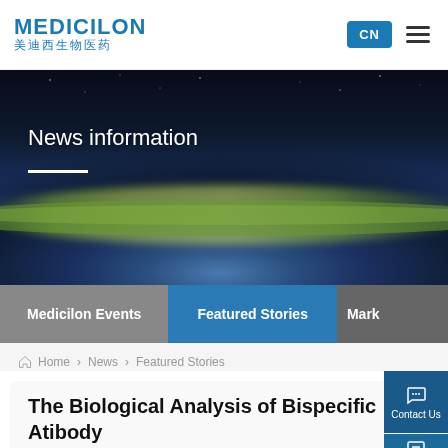MEDICILON 美迪西生物医药 | CN
[Figure (photo): Night-time satellite view of Earth from space, showing city lights across continents with a green atmospheric glow along the horizon. Text overlay: 'News information' with a white underline.]
Medicilon Events | Featured Stories | Mark
Home > News > Featured Stories
The Biological Analysis of Bispecific Atibody
2020-10-15  |  Page View：957